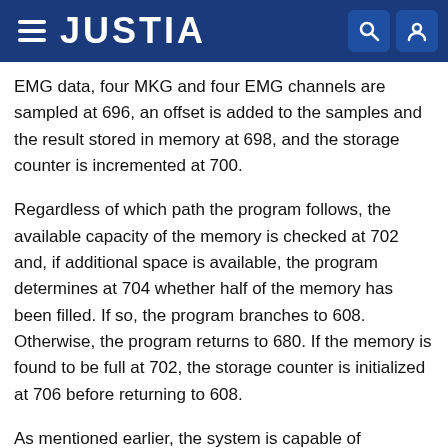JUSTIA
EMG data, four MKG and four EMG channels are sampled at 696, an offset is added to the samples and the result stored in memory at 698, and the storage counter is incremented at 700.
Regardless of which path the program follows, the available capacity of the memory is checked at 702 and, if additional space is available, the program determines at 704 whether half of the memory has been filled. If so, the program branches to 608. Otherwise, the program returns to 680. If the memory is found to be full at 702, the storage counter is initialized at 706 before returning to 608.
As mentioned earlier, the system is capable of generating a sensor positioning indication on the screen 20. The positioning mode is entered by first pressing the tape switch 44 (FIG. 1) and then pressing the erase